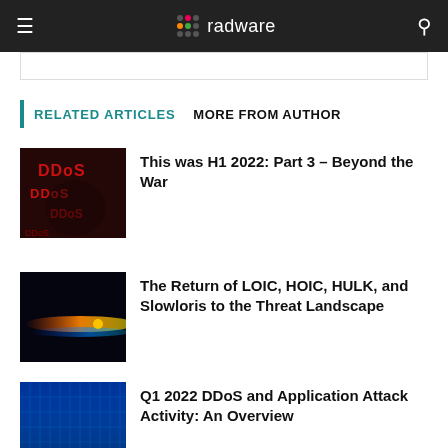radware
RELATED ARTICLES   MORE FROM AUTHOR
[Figure (photo): Dark hacker-themed image with red DDoS text overlays]
This was H1 2022: Part 3 – Beyond the War
[Figure (photo): High-speed laser or projectile streak against dark background with orange/blue light trail]
The Return of LOIC, HOIC, HULK, and Slowloris to the Threat Landscape
[Figure (photo): Blue digital network infrastructure or server room viewed from below]
Q1 2022 DDoS and Application Attack Activity: An Overview